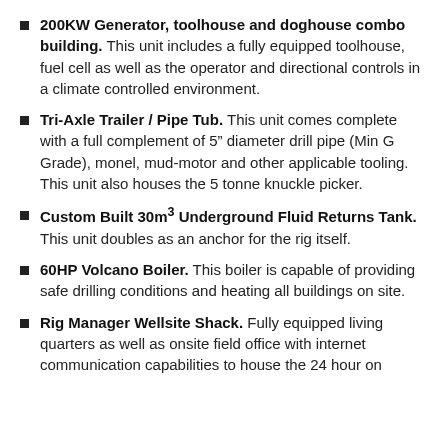200KW Generator, toolhouse and doghouse combo building. This unit includes a fully equipped toolhouse, fuel cell as well as the operator and directional controls in a climate controlled environment.
Tri-Axle Trailer / Pipe Tub. This unit comes complete with a full complement of 5" diameter drill pipe (Min G Grade), monel, mud-motor and other applicable tooling. This unit also houses the 5 tonne knuckle picker.
Custom Built 30m3 Underground Fluid Returns Tank. This unit doubles as an anchor for the rig itself.
60HP Volcano Boiler. This boiler is capable of providing safe drilling conditions and heating all buildings on site.
Rig Manager Wellsite Shack. Fully equipped living quarters as well as onsite field office with internet communication capabilities to house the 24 hour on